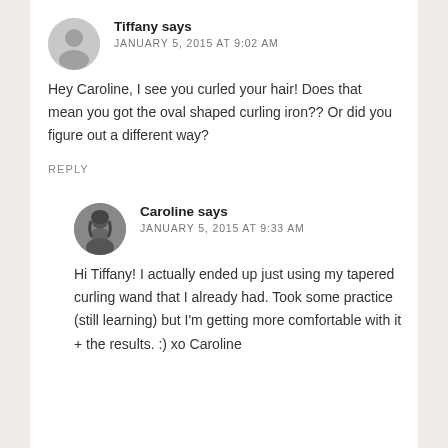Tiffany says
JANUARY 5, 2015 AT 9:02 AM
Hey Caroline, I see you curled your hair! Does that mean you got the oval shaped curling iron?? Or did you figure out a different way?
REPLY
Caroline says
JANUARY 5, 2015 AT 9:33 AM
Hi Tiffany! I actually ended up just using my tapered curling wand that I already had. Took some practice (still learning) but I'm getting more comfortable with it + the results. :) xo Caroline